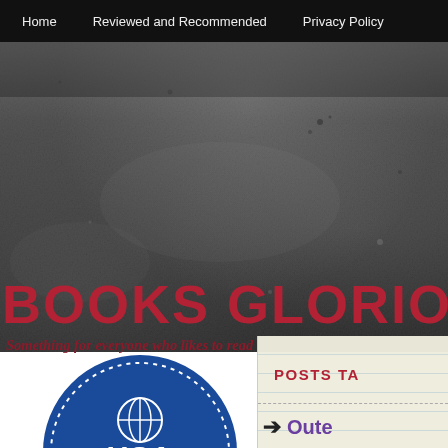Home    Reviewed and Recommended    Privacy Policy
BOOKS GLORIOUS
Something for everyone who likes to read
POSTS TA
[Figure (logo): USA Today bestseller circular badge logo in blue with white text and dotted border]
Oute
Posted: May 2
M/M, M/M Ro